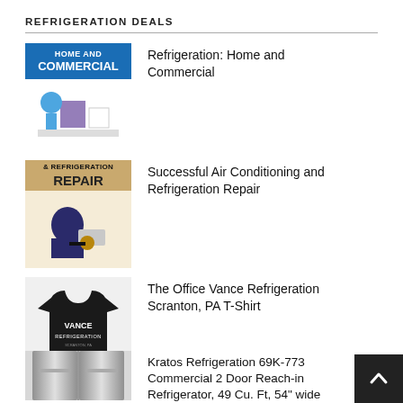REFRIGERATION DEALS
Refrigeration: Home and Commercial
Successful Air Conditioning and Refrigeration Repair
The Office Vance Refrigeration Scranton, PA T-Shirt
Kratos Refrigeration 69K-773 Commercial 2 Door Reach-in Refrigerator, 49 Cu. Ft, 54" wide